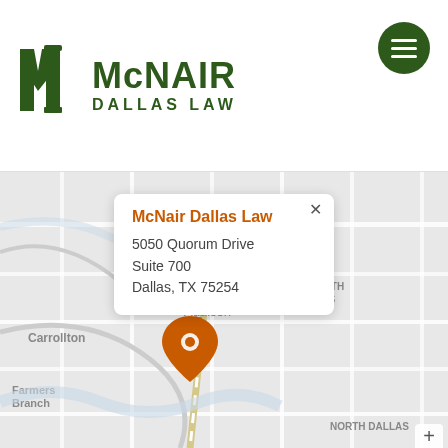[Figure (logo): McNair Dallas Law logo with stylized M and pillar icon in dark green, text MCNAIR in large bold dark green letters, DALLAS LAW subtitle in dark green]
[Figure (map): Google Maps screenshot showing Addison, TX area with location pin marker, popup showing McNair Dallas Law address, surrounding areas including Carrollton, Far North Dallas, Farmers Branch, North Dallas, Dallas North Tollway visible]
McNair Dallas Law
5050 Quorum Drive
Suite 700
Dallas, TX 75254